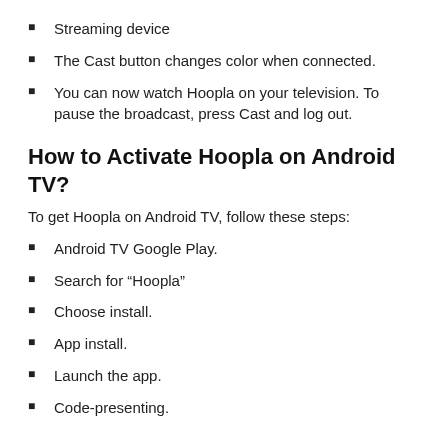Streaming device
The Cast button changes color when connected.
You can now watch Hoopla on your television. To pause the broadcast, press Cast and log out.
How to Activate Hoopla on Android TV?
To get Hoopla on Android TV, follow these steps:
Android TV Google Play.
Search for “Hoopla”
Choose install.
App install.
Launch the app.
Code-presenting.